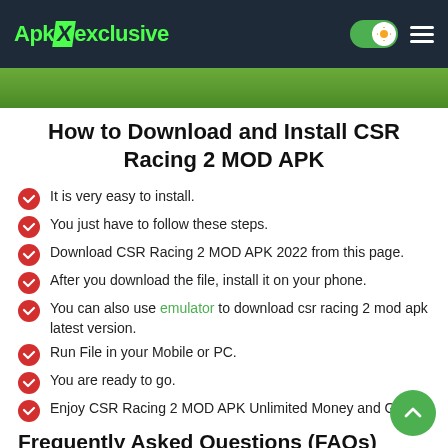ApkXexclusive
[Figure (screenshot): Green hero image strip at top of content]
How to Download and Install CSR Racing 2 MOD APK
It is very easy to install.
You just have to follow these steps.
Download CSR Racing 2 MOD APK 2022 from this page.
After you download the file, install it on your phone.
You can also use emulator to download csr racing 2 mod apk latest version.
Run File in your Mobile or PC.
You are ready to go.
Enjoy CSR Racing 2 MOD APK Unlimited Money and Gold.
Frequently Asked Questions (FAQs)